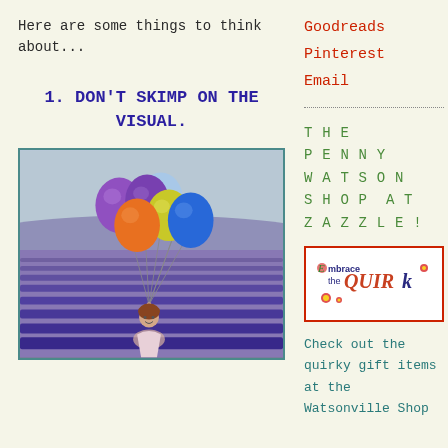Here are some things to think about...
1. DON'T SKIMP ON THE VISUAL.
[Figure (photo): A young girl holding colorful balloons (purple, yellow, orange, blue, light blue) in a lavender field]
Goodreads
Pinterest
Email
THE PENNY WATSON SHOP AT ZAZZLE!
[Figure (logo): Embrace the Quirk logo with colorful lettering and decorative elements in a red-bordered box]
Check out the quirky gift items at the Watsonville Shop